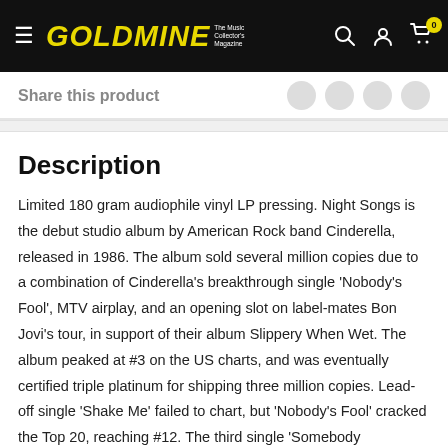GOLDMINE The Music Collector's Magazine
Share this product
Description
Limited 180 gram audiophile vinyl LP pressing. Night Songs is the debut studio album by American Rock band Cinderella, released in 1986. The album sold several million copies due to a combination of Cinderella's breakthrough single 'Nobody's Fool', MTV airplay, and an opening slot on label-mates Bon Jovi's tour, in support of their album Slippery When Wet. The album peaked at #3 on the US charts, and was eventually certified triple platinum for shipping three million copies. Lead-off single 'Shake Me' failed to chart, but 'Nobody's Fool' cracked the Top 20, reaching #12. The third single 'Somebody'